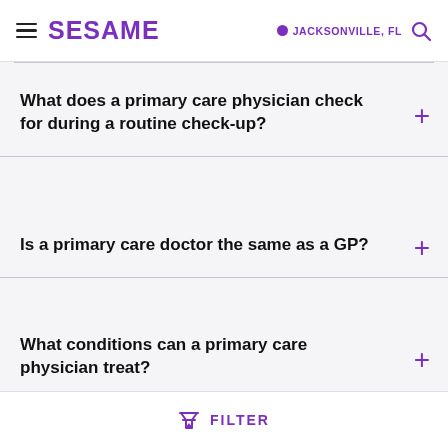SESAME — JACKSONVILLE, FL
What does a primary care physician check for during a routine check-up?
Is a primary care doctor the same as a GP?
What conditions can a primary care physician treat?
FILTER